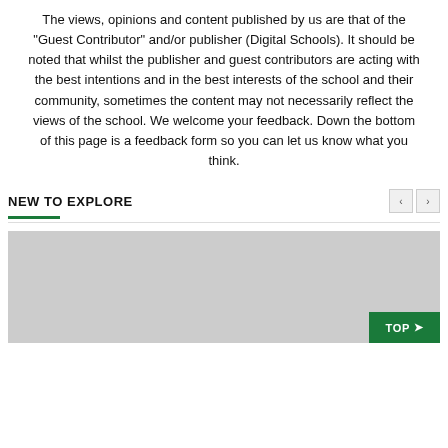The views, opinions and content published by us are that of the "Guest Contributor" and/or publisher (Digital Schools). It should be noted that whilst the publisher and guest contributors are acting with the best intentions and in the best interests of the school and their community, sometimes the content may not necessarily reflect the views of the school. We welcome your feedback. Down the bottom of this page is a feedback form so you can let us know what you think.
NEW TO EXPLORE
[Figure (photo): Gray placeholder image block below the 'New to Explore' section header]